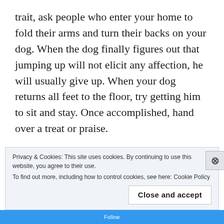trait, ask people who enter your home to fold their arms and turn their backs on your dog. When the dog finally figures out that jumping up will not elicit any affection, he will usually give up. When your dog returns all feet to the floor, try getting him to sit and stay. Once accomplished, hand over a treat or praise.
If the folded arms system does not take hold over time, you can try lightly stepping on the dogs back feet while his front paws are resting on the human legs (or chest). This will immediately prompt your
Privacy & Cookies: This site uses cookies. By continuing to use this website, you agree to their use.
To find out more, including how to control cookies, see here: Cookie Policy
Close and accept